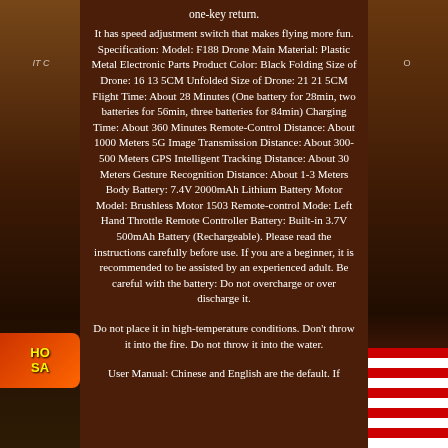one-key return.
It has speed adjustment switch that makes flying more fun. Specification: Model: F188 Drone Main Material: Plastic Metal Electronic Parts Product Color: Black Folding Size of Drone: 16 13 5CM Unfolded Size of Drone: 21 21 5CM Flight Time: About 28 Minutes (One battery for 28min, two batteries for 56min, three batteries for 84min) Charging Time: About 360 Minutes Remote-Control Distance: About 1000 Meters 5G Image Transmission Distance: About 300-500 Meters GPS Intelligent Tracking Distance: About 30 Meters Gesture Recognition Distance: About 1-3 Meters Body Battery: 7.4V 2000mAh Lithium Battery Motor Model: Brushless Motor 1503 Remote-control Mode: Left Hand Throttle Remote Controller Battery: Built-in 3.7V 500mAh Battery (Rechargeable). Please read the instructions carefully before use. If you are a beginner, it is recommended to be assisted by an experienced adult. Be careful with the battery: Do not overcharge or over discharge it.
Do not place it in high-temperature conditions. Don't throw it into the fire. Do not throw it into the water.
User Manual: Chinese and English are the default. If